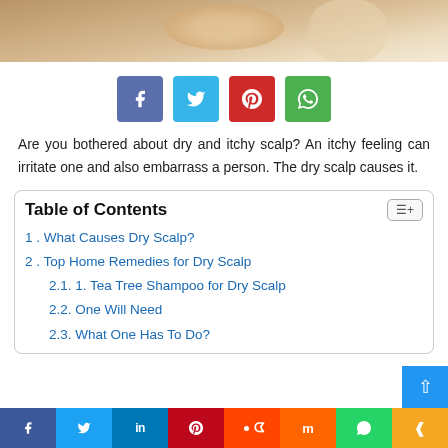[Figure (photo): Top portion of a person's face/hair, warm tones, cropped photo strip]
[Figure (infographic): Row of four social share buttons: Facebook (blue-purple), Twitter (light blue), Pinterest (red), WhatsApp (green)]
Are you bothered about dry and itchy scalp? An itchy feeling can irritate one and also embarrass a person. The dry scalp causes it.
Table of Contents
1. What Causes Dry Scalp?
2. Top Home Remedies for Dry Scalp
2.1. 1. Tea Tree Shampoo for Dry Scalp
2.2. One Will Need
2.3. What One Has To Do?
Facebook Twitter LinkedIn Pinterest Reddit Mix WhatsApp Share